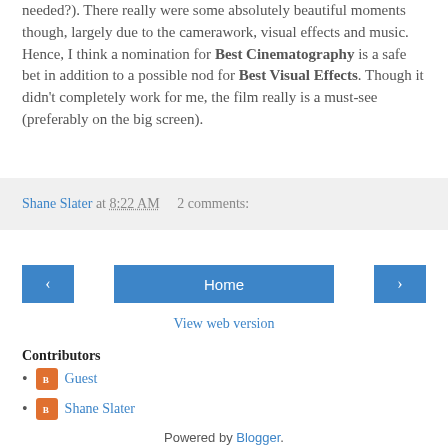needed?). There really were some absolutely beautiful moments though, largely due to the camerawork, visual effects and music. Hence, I think a nomination for Best Cinematography is a safe bet in addition to a possible nod for Best Visual Effects. Though it didn't completely work for me, the film really is a must-see (preferably on the big screen).
Shane Slater at 8:22 AM   2 comments:
[Figure (other): Navigation buttons: left arrow, Home, right arrow]
View web version
Contributors
Guest
Shane Slater
Powered by Blogger.